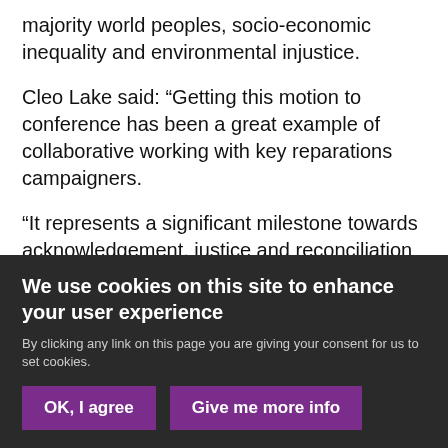majority world peoples, socio-economic inequality and environmental injustice.
Cleo Lake said: “Getting this motion to conference has been a great example of collaborative working with key reparations campaigners.
“It represents a significant milestone towards acknowledgement, justice and reconciliation over a painful shared history, the legacy of which still plays out today through rife global inequality, racism, Afriphobia, and a ravaged planet that continues to
We use cookies on this site to enhance your user experience
By clicking any link on this page you are giving your consent for us to set cookies.
OK, I agree
Give me more info